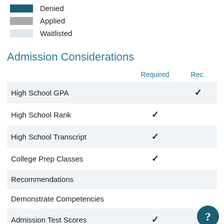Denied
Applied
Waitlisted
Admission Considerations
|  | Required | Rec. |
| --- | --- | --- |
| High School GPA |  | ✓ |
| High School Rank | ✓ |  |
| High School Transcript | ✓ |  |
| College Prep Classes | ✓ |  |
| Recommendations |  |  |
| Demonstrate Competencies |  |  |
| Admission Test Scores | ✓ |  |